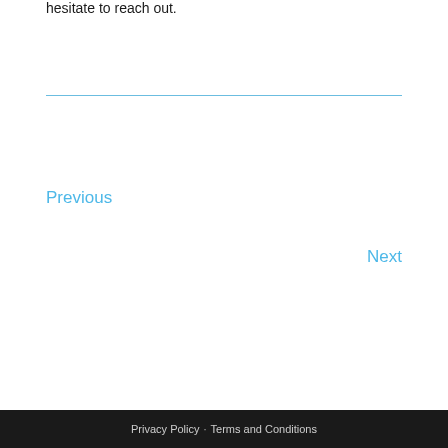hesitate to reach out.
Previous
Next
Privacy Policy · Terms and Conditions